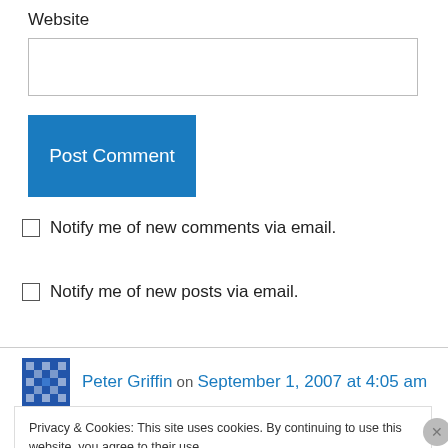Website
Post Comment
Notify me of new comments via email.
Notify me of new posts via email.
Peter Griffin on September 1, 2007 at 4:05 am
Privacy & Cookies: This site uses cookies. By continuing to use this website, you agree to their use.
To find out more, including how to control cookies, see here: Cookie Policy
Close and accept
nuptials.as